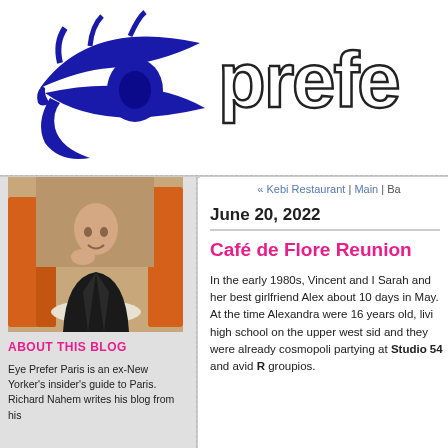[Figure (logo): Eye Prefer Paris logo: blue stylized eye graphic on the left, and large outlined text 'prefe' on the right (cropped)]
[Figure (photo): Photo of a bald man in a black leather jacket sitting at a cafe table, smiling, with orange chairs and warm decor in background]
ABOUT THIS BLOG
Eye Prefer Paris is an ex-New Yorker's insider's guide to Paris. Richard Nahem writes his blog from his
« Kebi Restaurant | Main | Ba
June 20, 2022
Café de Flore Reunion
In the early 1980s, Vincent and I Sarah and her best girlfriend Alex about 10 days in May. At the time Alexandra were 16 years old, livi high school on the upper west sid and they were already cosmopoli partying at Studio 54 and avid R groupios.